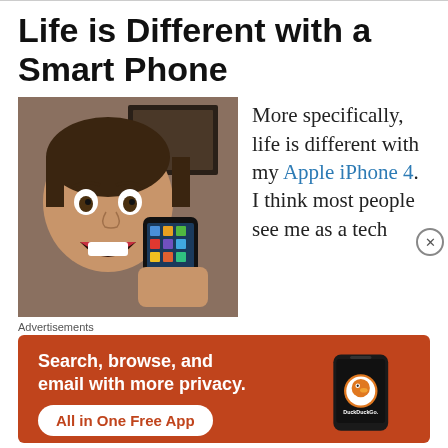Life is Different with a Smart Phone
[Figure (photo): Man holding an Apple iPhone 4 up to the camera with an excited expression]
More specifically, life is different with my Apple iPhone 4. I think most people see me as a tech
Advertisements
[Figure (infographic): DuckDuckGo advertisement banner: 'Search, browse, and email with more privacy. All in One Free App' with DuckDuckGo logo on a phone mockup, orange background]